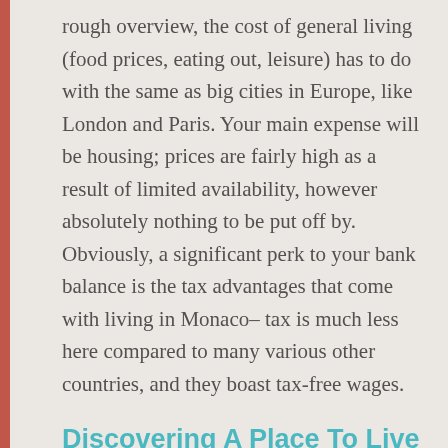rough overview, the cost of general living (food prices, eating out, leisure) has to do with the same as big cities in Europe, like London and Paris. Your main expense will be housing; prices are fairly high as a result of limited availability, however absolutely nothing to be put off by. Obviously, a significant perk to your bank balance is the tax advantages that come with living in Monaco– tax is much less here compared to many various other countries, and they boast tax-free wages.
Discovering A Place To Live
You have two options for residing in Monaco; either you purchase or you lease. If you intend to